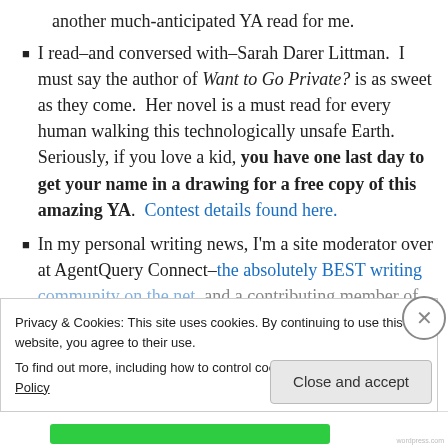another much-anticipated YA read for me.
I read–and conversed with–Sarah Darer Littman. I must say the author of Want to Go Private? is as sweet as they come. Her novel is a must read for every human walking this technologically unsafe Earth. Seriously, if you love a kid, you have one last day to get your name in a drawing for a free copy of this amazing YA. Contest details found here.
In my personal writing news, I'm a site moderator over at AgentQuery Connect–the absolutely BEST writing community on the net, and a contributing member of
Privacy & Cookies: This site uses cookies. By continuing to use this website, you agree to their use.
To find out more, including how to control cookies, see here: Cookie Policy
Close and accept